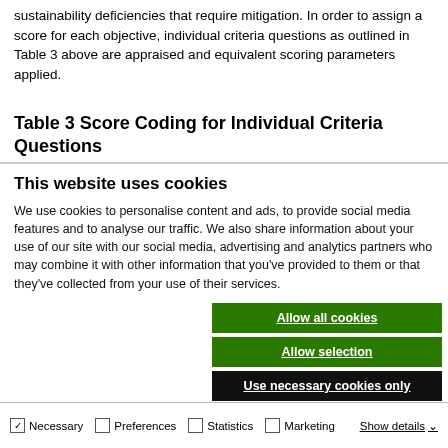sustainability deficiencies that require mitigation. In order to assign a score for each objective, individual criteria questions as outlined in Table 3 above are appraised and equivalent scoring parameters applied.
Table 3 Score Coding for Individual Criteria Questions
This website uses cookies
We use cookies to personalise content and ads, to provide social media features and to analyse our traffic. We also share information about your use of our site with our social media, advertising and analytics partners who may combine it with other information that you've provided to them or that they've collected from your use of their services.
Allow all cookies
Allow selection
Use necessary cookies only
Necessary  Preferences  Statistics  Marketing  Show details